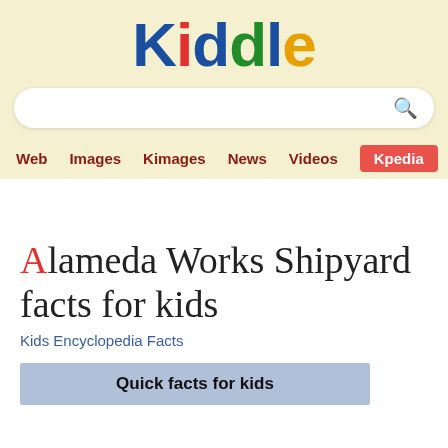Kiddle
[Figure (screenshot): Kiddle search bar with search icon]
Web  Images  Kimages  News  Videos  Kpedia
Alameda Works Shipyard facts for kids
Kids Encyclopedia Facts
| Quick facts for kids |
| --- |